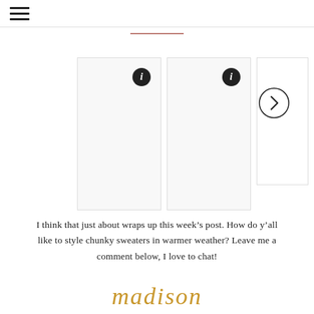≡ (hamburger menu)
[Figure (screenshot): Three product image panels with info icons; a next arrow circle on the right side. The first two panels are taller rectangles with info (i) icons in the top-right corners, and a third partial panel is visible with a circular next arrow overlay.]
I think that just about wraps up this week's post. How do y'all like to style chunky sweaters in warmer weather? Leave me a comment below, I love to chat!
madison